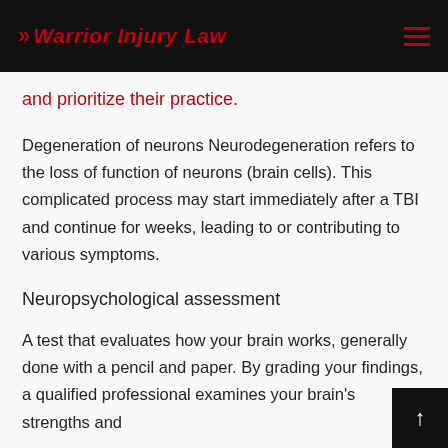Warrior Injury Law
and prioritize their practice.
Degeneration of neurons Neurodegeneration refers to the loss of function of neurons (brain cells). This complicated process may start immediately after a TBI and continue for weeks, leading to or contributing to various symptoms.
Neuropsychological assessment
A test that evaluates how your brain works, generally done with a pencil and paper. By grading your findings, a qualified professional examines your brain's strengths and